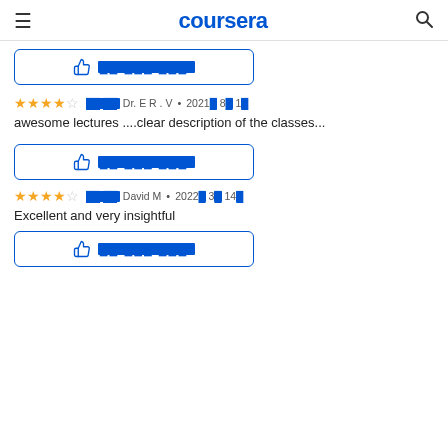coursera
[Figure (other): Thumbs up icon with garbled text in a blue-bordered box]
★★★★☆  [garbled] [garbled]: Dr. E R . V • 2021[garbled] 8[garbled] 1[garbled]
awesome lectures ....clear description of the classes...
[Figure (other): Thumbs up icon with garbled text in a blue-bordered box]
★★★★☆  [garbled] [garbled]: David M • 2022[garbled] 3[garbled] 14[garbled]
Excellent and very insightful
[Figure (other): Thumbs up icon with garbled text in a blue-bordered box]